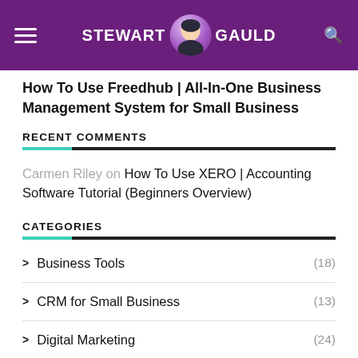STEWART GAULD
How To Use Freedhub | All-In-One Business Management System for Small Business
RECENT COMMENTS
Carmen Riley on How To Use XERO | Accounting Software Tutorial (Beginners Overview)
CATEGORIES
Business Tools (18)
CRM for Small Business (13)
Digital Marketing (24)